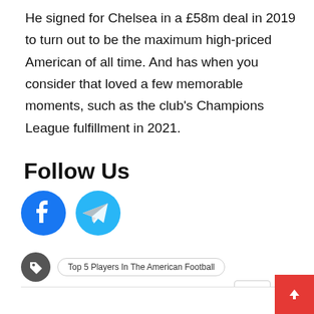He signed for Chelsea in a £58m deal in 2019 to turn out to be the maximum high-priced American of all time. And has when you consider that loved a few memorable moments, such as the club's Champions League fulfillment in 2021.
Follow Us
[Figure (illustration): Facebook and Telegram social media icons (circular)]
Top 5 Players In The American Football
[Figure (infographic): Share button row: Share, WhatsApp, Messenger, Google News, Facebook, and more (+) buttons]